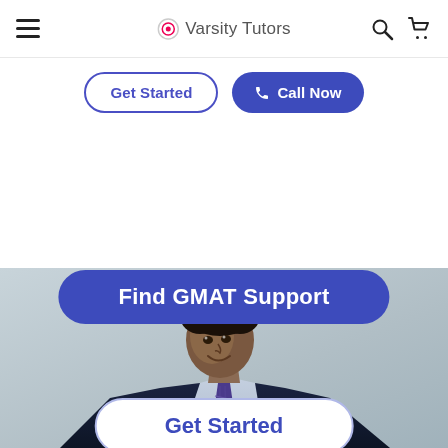Varsity Tutors
Get Started
Call Now
Find GMAT Support
Get Started
[Figure (photo): Young smiling man in a dark navy suit with a plaid tie, photographed against a light grey background, looking to his left]